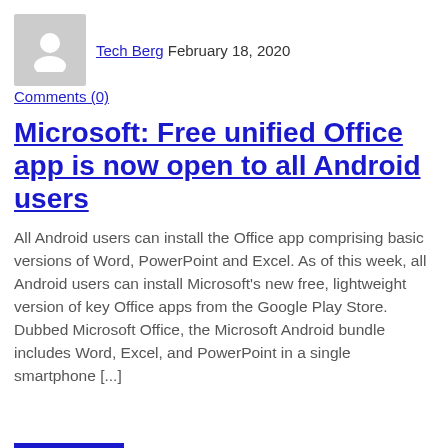[Figure (illustration): Gray avatar/profile placeholder image showing a generic person silhouette]
Tech Berg February 18, 2020
Comments (0)
Microsoft: Free unified Office app is now open to all Android users
All Android users can install the Office app comprising basic versions of Word, PowerPoint and Excel. As of this week, all Android users can install Microsoft's new free, lightweight version of key Office apps from the Google Play Store. Dubbed Microsoft Office, the Microsoft Android bundle includes Word, Excel, and PowerPoint in a single smartphone [...]